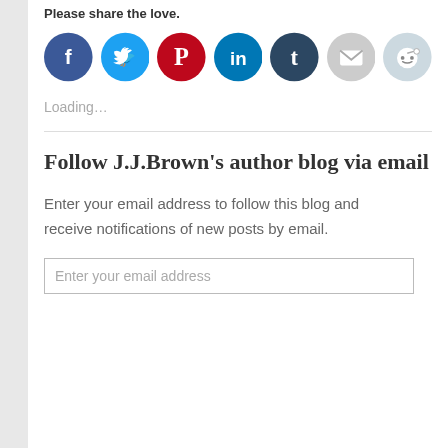Please share the love.
[Figure (infographic): Row of social media sharing icons: Facebook (blue), Twitter (cyan), Pinterest (red), LinkedIn (teal), Tumblr (dark navy), Email (light gray), Reddit (light blue/gray)]
Loading...
Follow J.J.Brown's author blog via email
Enter your email address to follow this blog and receive notifications of new posts by email.
Enter your email address